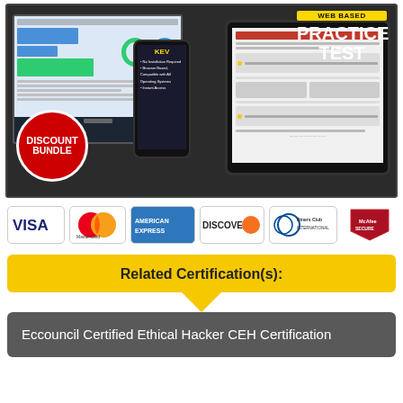[Figure (illustration): Product image showing a monitor, tablet, and phone displaying a web-based practice test interface. A red 'DISCOUNT BUNDLE' circle badge is in the lower left. The top right shows 'WEB BASED PRACTICE TEST' text.]
[Figure (illustration): Row of payment method logos: Visa, MasterCard, American Express, Discover, Diners Club International, McAfee Secure]
Related Certification(s):
Eccouncil Certified Ethical Hacker CEH Certification